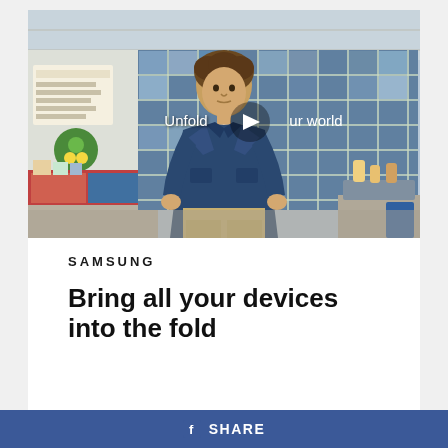[Figure (screenshot): Video thumbnail showing a young man in a denim jacket walking through a cafeteria-style space with blue tiled windows. Overlay text reads 'Unfold your world' with a play button in the center.]
SAMSUNG
Bring all your devices into the fold
SHARE